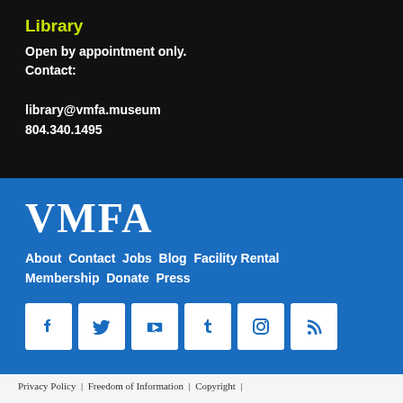Library
Open by appointment only.
Contact:
library@vmfa.museum
804.340.1495
[Figure (logo): VMFA museum logo in large white serif font on blue background]
About  Contact  Jobs  Blog  Facility Rental  Membership  Donate  Press
[Figure (infographic): Six social media icons (Facebook, Twitter, YouTube, Tumblr, Instagram, RSS) as white squares with blue icons]
Privacy Policy  |  Freedom of Information  |  Copyright  |